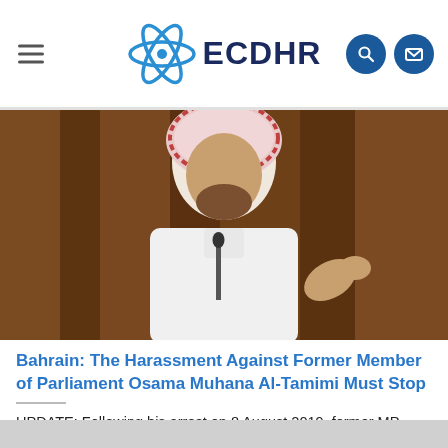ECDHR
[Figure (photo): A man wearing traditional Saudi white thobe and red-and-white checkered keffiyeh, seated and gesturing with his right hand near a microphone, against a wooden paneled background. This is former MP Osama Muhana Al-Tamimi.]
Bahrain: The Harassment Against Former Member of Parliament Osama Muhana Al-Tamimi Must Stop
UPDATE: Following his arrest on 8 August 2019, former MP Osama Al-Tamimi's health has been [...]